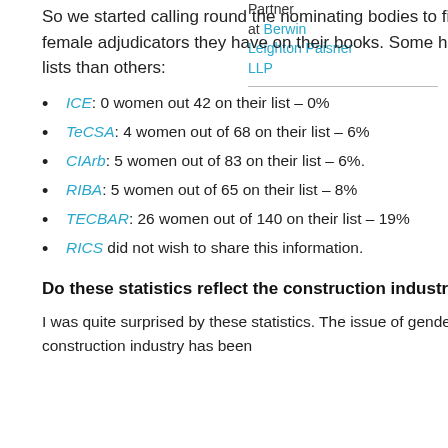So we started calling round the nominating bodies to find out just how many female adjudicators they have on their books. Some have more women on their lists than others:
Partner at Berwin Leighton Paisner LLP
ICE: 0 women out 42 on their list – 0%
TeCSA: 4 women out of 68 on their list – 6%
CIArb: 5 women out of 83 on their list – 6%.
RIBA: 5 women out of 65 on their list – 8%
TECBAR: 26 women out of 140 on their list – 19%
RICS did not wish to share this information.
Do these statistics reflect the construction industry as a whole?
I was quite surprised by these statistics. The issue of gender balance within the construction industry has been